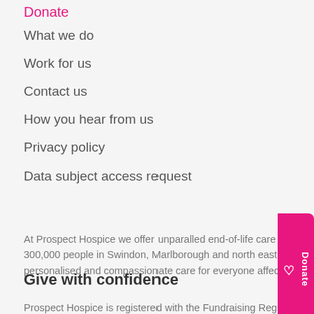Donate
What we do
Work for us
Contact us
How you hear from us
Privacy policy
Data subject access request
At Prospect Hospice we offer unparalled end-of-life care services for a community of more than 300,000 people in Swindon, Marlborough and north east Wiltshire. Our vision for excellent, personalised and compassionate care for everyone affected by a life-limiting illness.
Give with confidence
Prospect Hospice is registered with the Fundraising Regulator